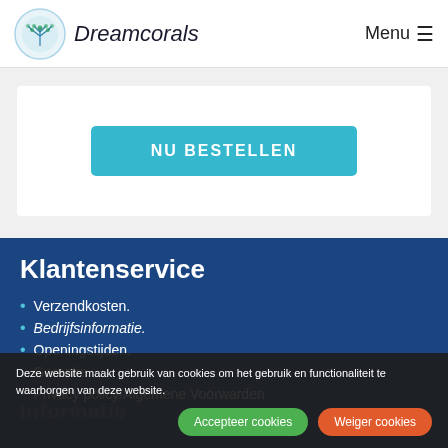Dreamcorals  Menu
[Figure (screenshot): White card area with teal 'NU BESTELLEN' button]
Klantenservice
Verzendkosten.
Bedrijfsinformatie.
Openingstijden.
Garantie.
Privacy policy/Algemene Voorwarden
Deze website maakt gebruik van cookies om het gebruik en functionaliteit te waarborgen van deze website.
Accepteer cookies  Weiger cookies